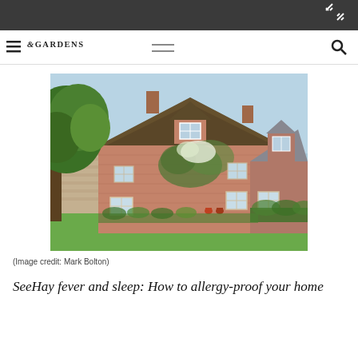&GARDENS
[Figure (photo): A traditional English thatched-roof brick farmhouse with dormer windows, covered in climbing plants, set against a blue sky with a large tree on the left and a green lawn in the foreground.]
(Image credit: Mark Bolton)
SeeHay fever and sleep: How to allergy-proof your home